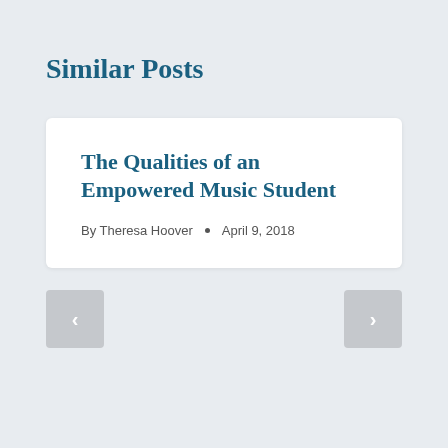Similar Posts
The Qualities of an Empowered Music Student
By Theresa Hoover • April 9, 2018